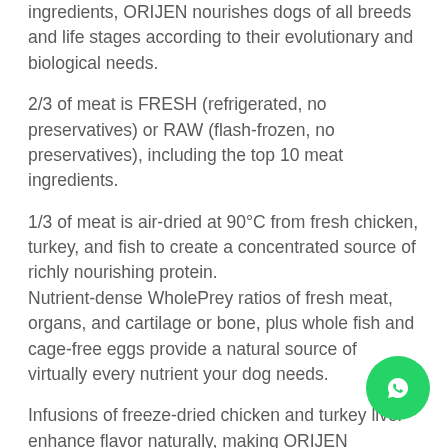ingredients, ORIJEN nourishes dogs of all breeds and life stages according to their evolutionary and biological needs.
2/3 of meat is FRESH (refrigerated, no preservatives) or RAW (flash-frozen, no preservatives), including the top 10 meat ingredients.
1/3 of meat is air-dried at 90°C from fresh chicken, turkey, and fish to create a concentrated source of richly nourishing protein.
Nutrient-dense WholePrey ratios of fresh meat, organs, and cartilage or bone, plus whole fish and cage-free eggs provide a natural source of virtually every nutrient your dog needs.
Infusions of freeze-dried chicken and turkey liver enhance flavor naturally, making ORIJEN deliciously for even the fussiest of dogs.